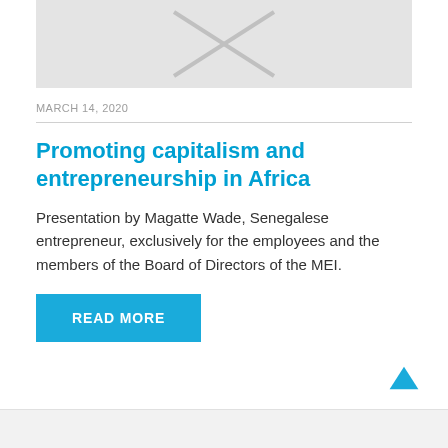[Figure (illustration): Placeholder image with gray background and X mark pattern]
MARCH 14, 2020
Promoting capitalism and entrepreneurship in Africa
Presentation by Magatte Wade, Senegalese entrepreneur, exclusively for the employees and the members of the Board of Directors of the MEI.
READ MORE